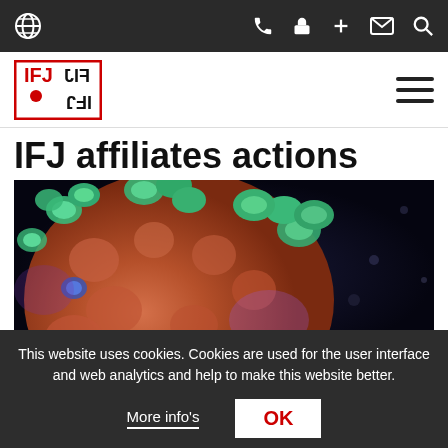IFJ website navigation bar with globe icon and phone, lock, plus, mail, search icons
[Figure (logo): IFJ (International Federation of Journalists) logo with red dot]
IFJ affiliates actions
[Figure (photo): Close-up 3D rendered image of a coronavirus particle with green and blue spike proteins on an orange-red surface against a dark background]
This website uses cookies. Cookies are used for the user interface and web analytics and help to make this website better.
More info's | OK